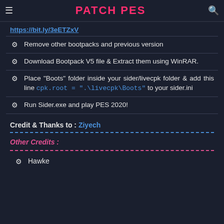PATCH PES
https://bit.ly/3eETZxV
Remove other bootpacks and previous version
Download Bootpack V5 file & Extract them using WinRAR.
Place "Boots" folder inside your sider/livecpk folder & add this line cpk.root = ".\livecpk\Boots" to your sider.ini
Run Sider.exe and play PES 2020!
Credit & Thanks to : Ziyech
Other Credits :
Hawke